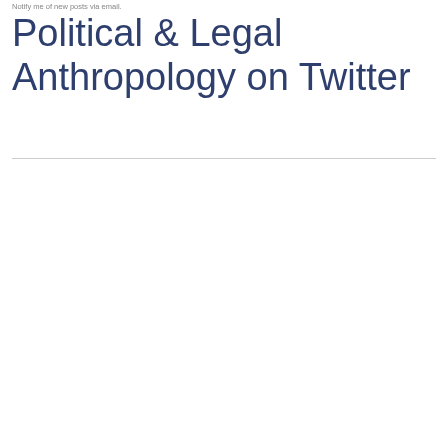Notify me of new posts via email.
Political & Legal Anthropology on Twitter